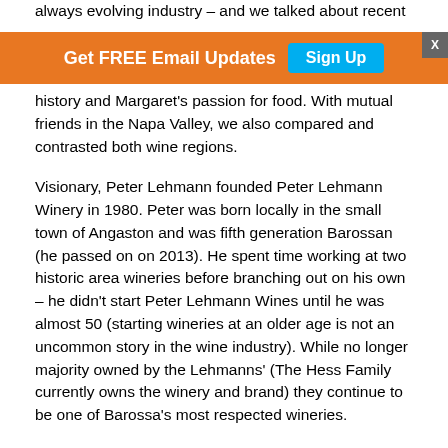always evolving industry – and we talked about recent
[Figure (infographic): Orange banner with 'Get FREE Email Updates' text and a cyan 'Sign Up' button, with an X close button in the top right corner.]
history and Margaret's passion for food. With mutual friends in the Napa Valley, we also compared and contrasted both wine regions.
Visionary, Peter Lehmann founded Peter Lehmann Winery in 1980. Peter was born locally in the small town of Angaston and was fifth generation Barossan (he passed on on 2013). He spent time working at two historic area wineries before branching out on his own – he didn't start Peter Lehmann Wines until he was almost 50 (starting wineries at an older age is not an uncommon story in the wine industry). While no longer majority owned by the Lehmanns' (The Hess Family currently owns the winery and brand) they continue to be one of Barossa's most respected wineries.
The winery itself is located on the edge of the North Para River in Tanunda. The cellar door is in an old stone winery that dates back to the 1880's. A huge variety of wines are